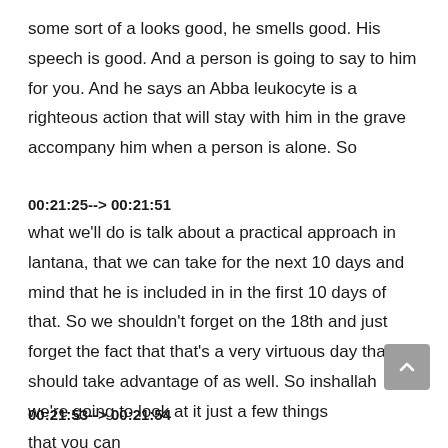some sort of a looks good, he smells good. His speech is good. And a person is going to say to him for you. And he says an Abba leukocyte is a righteous action that will stay with him in the grave accompany him when a person is alone. So
00:21:25--> 00:21:51
what we'll do is talk about a practical approach in lantana, that we can take for the next 10 days and mind that he is included in in the first 10 days of that. So we shouldn't forget on the 18th and just forget the fact that that's a very virtuous day that we should take advantage of as well. So inshallah we're going to look at it just a few things
00:21:53--> 00:21:54
that you can